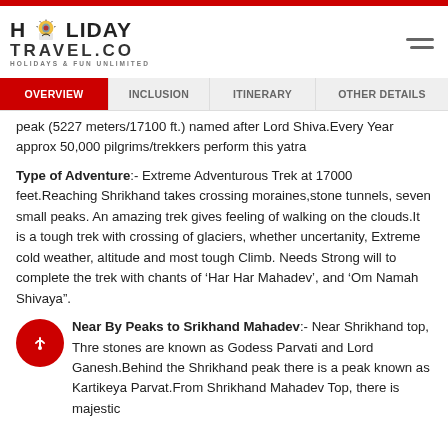[Figure (logo): Holiday Travel .Co logo with holiday icon, tagline HOLIDAYS & FUN UNLIMITED]
OVERVIEW | INCLUSION | ITINERARY | OTHER DETAILS
peak (5227 meters/17100 ft.) named after Lord Shiva.Every Year approx 50,000 pilgrims/trekkers perform this yatra
Type of Adventure:- Extreme Adventurous Trek at 17000 feet.Reaching Shrikhand takes crossing moraines,stone tunnels, seven small peaks. An amazing trek gives feeling of walking on the clouds.It is a tough trek with crossing of glaciers, whether uncertanity, Extreme cold weather, altitude and most tough Climb. Needs Strong will to complete the trek with chants of ‘Har Har Mahadev’, and ‘Om Namah Shivaya”.
Near By Peaks to Srikhand Mahadev:- Near Shrikhand top, Three stones are known as Godess Parvati and Lord Ganesh.Behind the Shrikhand peak there is a peak known as Kartikeya Parvat.From Shrikhand Mahadev Top, there is majestic